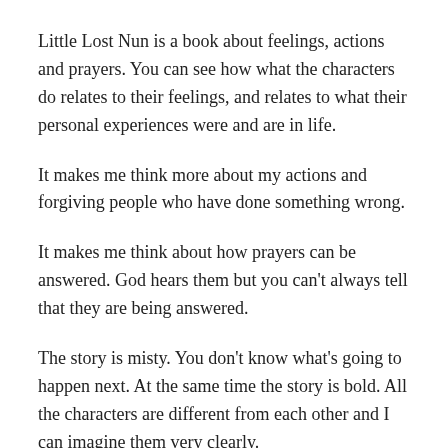Little Lost Nun is a book about feelings, actions and prayers. You can see how what the characters do relates to their feelings, and relates to what their personal experiences were and are in life.
It makes me think more about my actions and forgiving people who have done something wrong.
It makes me think about how prayers can be answered. God hears them but you can't always tell that they are being answered.
The story is misty. You don't know what's going to happen next. At the same time the story is bold. All the characters are different from each other and I can imagine them very clearly.
It's a really good book. I like it. At the end I turned the page to